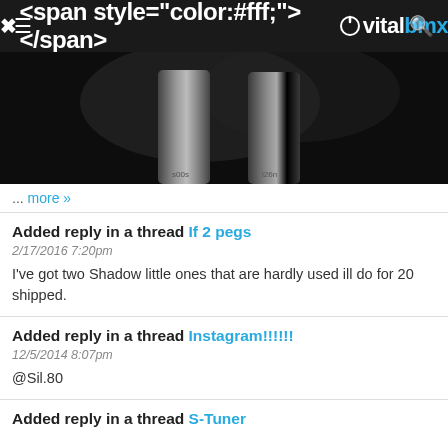vitalbmx
[Figure (photo): Dark photo of two BMX pegs on a dark surface]
... more »
Added reply in a thread If 2 pegs
2/17/2016 7:20pm
I've got two Shadow little ones that are hardly used ill do for 20 shipped.
Added reply in a thread Instagram!!!!!!
12/5/2014 8:07pm
@Sil.80
Added reply in a thread S-Tuner